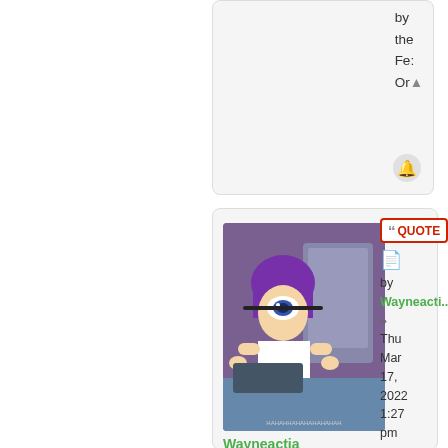[Figure (screenshot): Partial forum post card at top right, showing truncated text 'by the Fe: Or' and a notification bell icon]
[Figure (screenshot): Forum post card showing user Wayneactia with Futurama avatar (Leela character with purple hair). User is Senator rank, 3588 posts, founded Aug 01 2014, New York Times Democracy nation. Post metadata shows Thu Mar 17, 2022 1:27 pm.]
by the Fe: Or
by Wayneactia » Thu Mar 17, 2022 1:27 pm
Wayneactia
Senator
Posts: 3588
Founded: Aug 01, 2014
New York Times Democracy